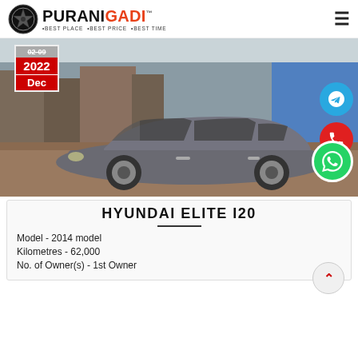PURANIGADI • BEST PLACE • BEST PRICE • BEST TIME
[Figure (photo): A gray Hyundai Elite i20 hatchback parked on a brick street with UK shopfront buildings in the background. Date badge showing 02-09 2022 Dec overlaid on top-left. Telegram, phone, and WhatsApp floating action buttons on the right.]
HYUNDAI ELITE I20
Model - 2014 model
Kilometres - 62,000
No. of Owner(s) - 1st Owner